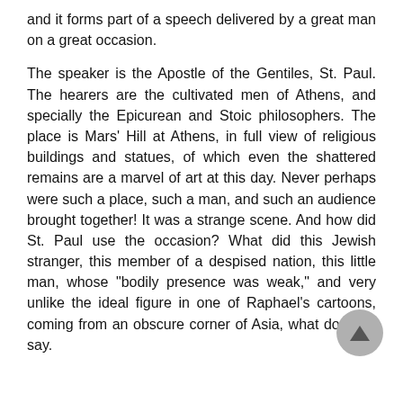and it forms part of a speech delivered by a great man on a great occasion.
The speaker is the Apostle of the Gentiles, St. Paul. The hearers are the cultivated men of Athens, and specially the Epicurean and Stoic philosophers. The place is Mars' Hill at Athens, in full view of religious buildings and statues, of which even the shattered remains are a marvel of art at this day. Never perhaps were such a place, such a man, and such an audience brought together! It was a strange scene. And how did St. Paul use the occasion? What did this Jewish stranger, this member of a despised nation, this little man, whose "bodily presence was weak," and very unlike the ideal figure in one of Raphael's cartoons, coming from an obscure corner of Asia, what does he say.